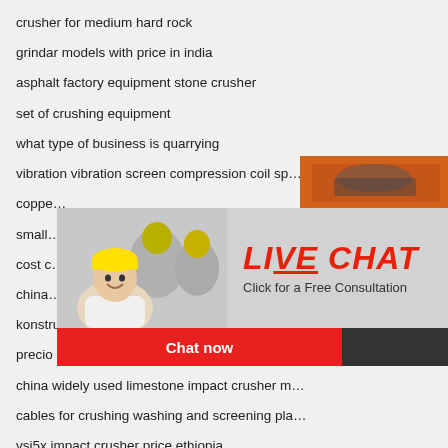crusher for medium hard rock
grindar models with price in india
asphalt factory equipment stone crusher
set of crushing equipment
what type of business is quarrying
vibration vibration screen compression coil sp…
copper…
small…
cost c…
china…
konstruksi crusher batubara surabaya
precio picador marihuana
china widely used limestone impact crusher m…
cables for crushing washing and screening pla…
vsi5x impact crusher price ethiopia
compact chilli grinding machine
[Figure (screenshot): Advertisement panel on right side showing mining machinery images, 'Enjoy 3% discount', 'Click to Chat', 'Enquiry', and 'limingjlmofen@sina.com' contact details on orange background]
[Figure (screenshot): Live chat popup overlay with photo of smiling woman and engineers in hard hats, 'LIVE CHAT' in red italic text, 'Click for a Free Consultation', 'Chat now' red button and 'Chat later' dark button]